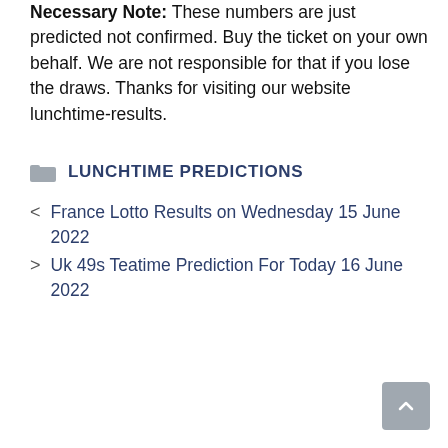Necessary Note: These numbers are just predicted not confirmed. Buy the ticket on your own behalf. We are not responsible for that if you lose the draws. Thanks for visiting our website lunchtime-results.
LUNCHTIME PREDICTIONS
France Lotto Results on Wednesday 15 June 2022
Uk 49s Teatime Prediction For Today 16 June 2022